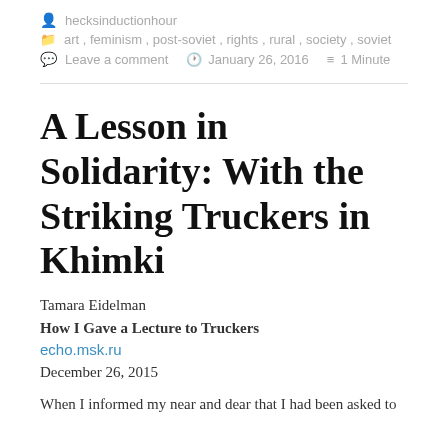hecksinductionhour
art , feminism , post-soviet , rights , rural , society , soviet
Leave a comment   January 26, 2016   1 Minute
A Lesson in Solidarity: With the Striking Truckers in Khimki
Tamara Eidelman
How I Gave a Lecture to Truckers
echo.msk.ru
December 26, 2015
When I informed my near and dear that I had been asked to